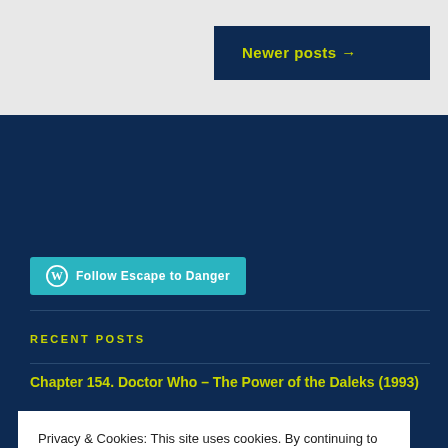Newer posts →
Follow Escape to Danger
RECENT POSTS
Chapter 154. Doctor Who – The Power of the Daleks (1993)
Privacy & Cookies: This site uses cookies. By continuing to use this website, you agree to their use.
To find out more, including how to control cookies, see here: Cookie Policy
Close and accept
Chapter 151. Doctor Who – The Curse of Fenric (1990)